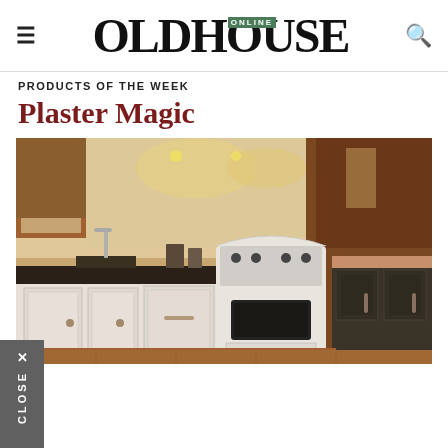OLDHOUSE ONLINE
PRODUCTS OF THE WEEK
Plaster Magic
[Figure (photo): Kitchen interior with white vintage stove, white cabinets, dark countertops, dark lower cabinets on right, warm wood tones, pendant lighting]
CLOSE ×